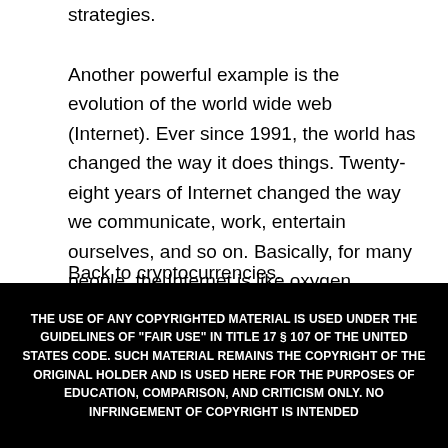strategies.
Another powerful example is the evolution of the world wide web (Internet). Ever since 1991, the world has changed the way it does things. Twenty-eight years of Internet changed the way we communicate, work, entertain ourselves, and so on. Basically, for many people, the Internet is like oxygen.
Back to cryptocurrencies.
THE USE OF ANY COPYRIGHTED MATERIAL IS USED UNDER THE GUIDELINES OF "FAIR USE" IN TITLE 17 § 107 OF THE UNITED STATES CODE. SUCH MATERIAL REMAINS THE COPYRIGHT OF THE ORIGINAL HOLDER AND IS USED HERE FOR THE PURPOSES OF EDUCATION, COMPARISON, AND CRITICISM ONLY. NO INFRINGEMENT OF COPYRIGHT IS INTENDED